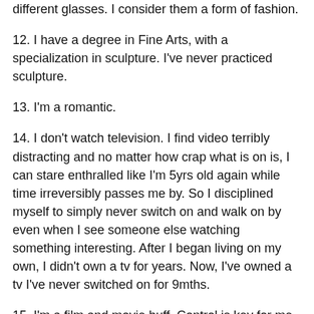different glasses. I consider them a form of fashion.
12. I have a degree in Fine Arts, with a specialization in sculpture. I've never practiced sculpture.
13. I'm a romantic.
14. I don't watch television. I find video terribly distracting and no matter how crap what is on is, I can stare enthralled like I'm 5yrs old again while time irreversibly passes me by. So I disciplined myself to simply never switch on and walk on by even when I see someone else watching something interesting. After I began living on my own, I didn't own a tv for years. Now, I've owned a tv I've never switched on for 9mths.
15. I'm a film and movie buff. Control is key for me when dealing with the video format and I love how I can dedicate